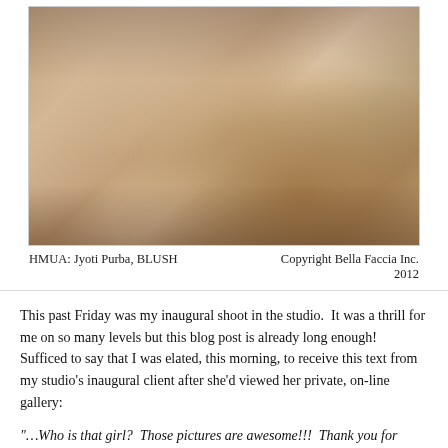[Figure (photo): Sepia-toned boudoir/glamour photo of a woman posing on the floor, wearing white lingerie with a dark patterned piece, hair spread out]
HMUA: Jyoti Purba, BLUSH     Copyright Bella Faccia Inc. 2012
This past Friday was my inaugural shoot in the studio.  It was a thrill for me on so many levels but this blog post is already long enough!  Sufficed to say that I was elated, this morning, to receive this text from my studio’s inaugural client after she’d viewed her private, on-line gallery:
“…Who is that girl?  Those pictures are awesome!!!  Thank you for making me look ‘hot’.  There are so many that shocked me (in a good way!).  I’ll have a hard time picking.  The poses were awesome, the lighting was perfect and the fan had high impact.